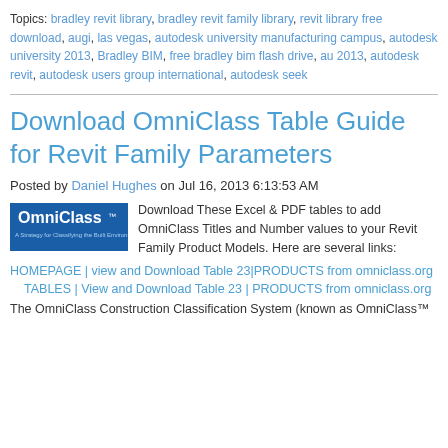Topics: bradley revit library, bradley revit family library, revit library free download, augi, las vegas, autodesk university manufacturing campus, autodesk university 2013, Bradley BIM, free bradley bim flash drive, au 2013, autodesk revit, autodesk users group international, autodesk seek
Download OmniClass Table Guide for Revit Family Parameters
Posted by Daniel Hughes on Jul 16, 2013 6:13:53 AM
[Figure (logo): OmniClass logo — blue rectangle with white text reading 'OmniClass' and tagline 'A Strategy for Classifying the Built Environment']
Download These Excel & PDF tables to add OmniClass Titles and Number values to your Revit Family Product Models. Here are several links:
HOMEPAGE | view and Download Table 23|PRODUCTS from omniclass.org
TABLES | View and Download Table 23 | PRODUCTS from omniclass.org
The OmniClass Construction Classification System (known as OmniClass™